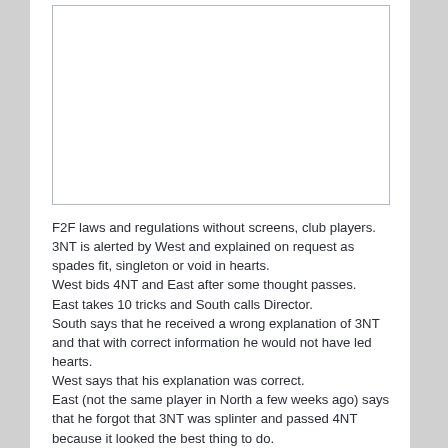[Figure (other): Empty white box with border, likely a diagram placeholder]
F2F laws and regulations without screens, club players.
3NT is alerted by West and explained on request as spades fit, singleton or void in hearts.
West bids 4NT and East after some thought passes.
East takes 10 tricks and South calls Director.
South says that he received a wrong explanation of 3NT and that with correct information he would not have led hearts.
West says that his explanation was correct.
East (not the same player in North a few weeks ago) says that he forgot that 3NT was splinter and passed 4NT because it looked the best thing to do.
EW have a convention card which lists 1M-3NT as splinter in the other major and 4NT as RKCB.
4NT= turns out to be 30% for NS (5♠= would be 14% and 5♠-1 would be 85%).